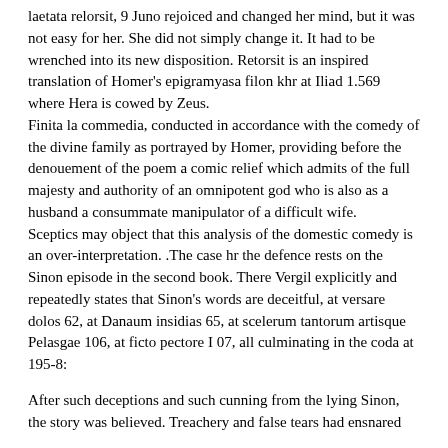laetata relorsit, 9 Juno rejoiced and changed her mind, but it was not easy for her. She did not simply change it. It had to be wrenched into its new disposition. Retorsit is an inspired translation of Homer's epigramyasa filon khr at Iliad 1.569 where Hera is cowed by Zeus.
Finita la commedia, conducted in accordance with the comedy of the divine family as portrayed by Homer, providing before the denouement of the poem a comic relief which admits of the full majesty and authority of an omnipotent god who is also as a husband a consummate manipulator of a difficult wife.
Sceptics may object that this analysis of the domestic comedy is an over-interpretation. .The case hr the defence rests on the Sinon episode in the second book. There Vergil explicitly and repeatedly states that Sinon's words are deceitful, at versare dolos 62, at Danaum insidias 65, at scelerum tantorum artisque Pelasgae 106, at ficto pectore I 07, all culminating in the coda at 195-8:
After such deceptions and such cunning from the lying Sinon,
the story was believed. Treachery and false tears had ensnared